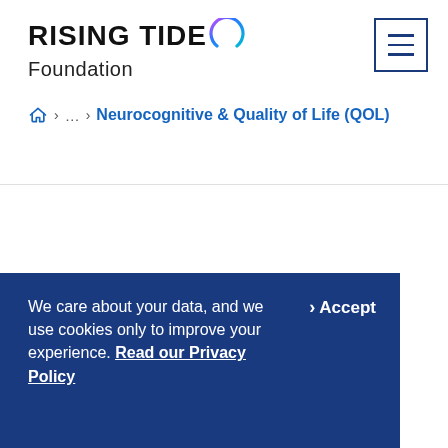[Figure (logo): Rising Tide Foundation logo with colorful arc and text]
› … › Neurocognitive & Quality of Life (QOL)
We care about your data, and we use cookies only to improve your experience. Read our Privacy Policy
> Accept